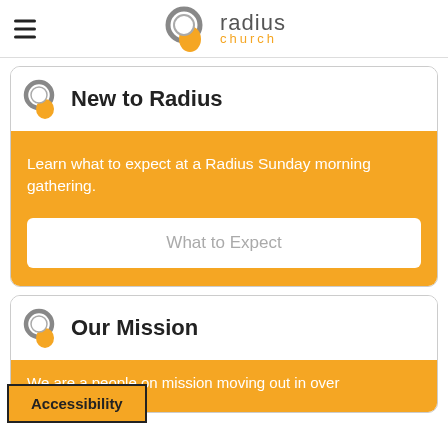radius church (logo and navigation)
New to Radius
Learn what to expect at a Radius Sunday morning gathering.
What to Expect
Our Mission
We are a people on mission moving out in over
Accessibility